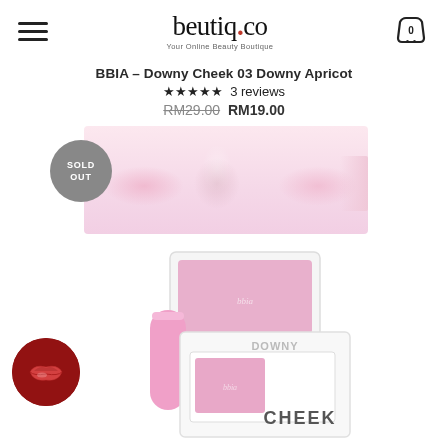beutiq.co — Your Online Beauty Boutique
BBIA - Downy Cheek 03 Downy Apricot
★★★★★ 3 reviews
RM29.00  RM19.00
[Figure (photo): Close-up of a fair-skinned face showing the nose and cheeks with pink blush applied, with a 'SOLD OUT' grey circular badge overlay]
[Figure (photo): BBIA Downy Cheek product in pink compact packaging labeled 'DOWNY CHEEK']
[Figure (photo): Red circular logo/icon with red lips]